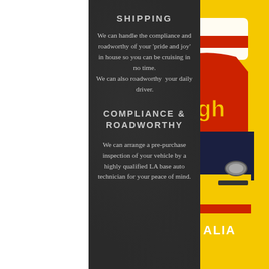SHIPPING
We can handle the compliance and roadworthy of your 'pride and joy' in house so you can be cruising in no time. We can also roadworthy  your daily driver.
COMPLIANCE & ROADWORTHY
We can arrange a pre-purchase inspection of your vehicle by a highly qualified LA base auto technician for your peace of mind.
[Figure (illustration): Partial view of a classic Australian muscle car illustration on a yellow background, with red and yellow car body visible, and text 'ALIA' partially visible]